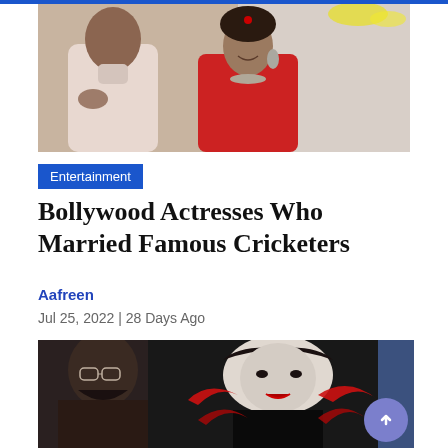[Figure (photo): Photo of a couple at what appears to be a wedding or celebration. A man in a pink/white kurta and a woman in red attire with jewelry and sindoor.]
Entertainment
Bollywood Actresses Who Married Famous Cricketers
Aafreen
Jul 25, 2022 | 28 Days Ago
[Figure (photo): A dramatic promotional image with a man with glasses and beard on the left and a glamorous woman in black and white in the center, with red bird/wing motifs in the background.]